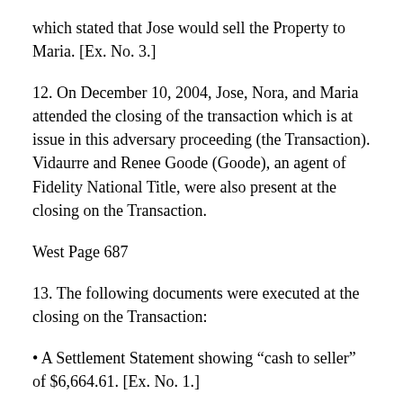which stated that Jose would sell the Property to Maria. [Ex. No. 3.]
12. On December 10, 2004, Jose, Nora, and Maria attended the closing of the transaction which is at issue in this adversary proceeding (the Transaction). Vidaurre and Renee Goode (Goode), an agent of Fidelity National Title, were also present at the closing on the Transaction.
West Page 687
13. The following documents were executed at the closing on the Transaction:
• A Settlement Statement showing “cash to seller” of $6,664.61. [Ex. No. 1.]